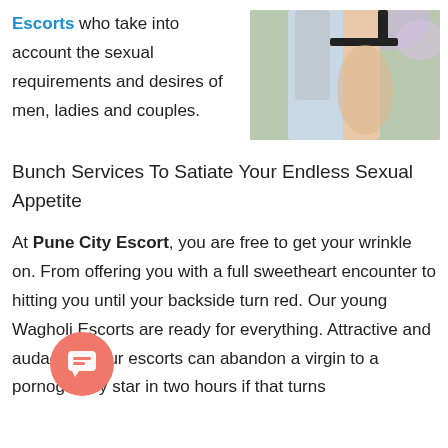Escorts who take into account the sexual requirements and desires of men, ladies and couples.
[Figure (photo): Cropped photo of a woman in lingerie with flowers in the background]
Bunch Services To Satiate Your Endless Sexual Appetite
At Pune City Escort, you are free to get your wrinkle on. From offering you with a full sweetheart encounter to hitting you until your backside turn red. Our young Wagholi Escorts are ready for everything. Attractive and audacious, our escorts can abandon a virgin to a pornography star in two hours if that turns